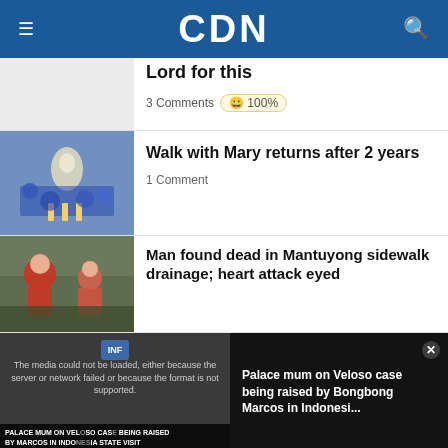CDN
[Figure (screenshot): Partial article thumbnail placeholder image]
Lord for this
3 Comments  😊 100%
[Figure (photo): Crowd gathered around a statue of the Virgin Mary with candles and flowers]
Walk with Mary returns after 2 years
1 Comment
[Figure (photo): People in red shirts and helmets at a scene outdoors]
Man found dead in Mantuyong sidewalk drainage; heart attack eyed
[Figure (screenshot): Video player with error message and news thumbnail: Palace mum on Veloso case being raised by Bongbong Marcos in Indonesia State Visit]
The media could not be loaded, either because the server or network failed or because the format is not supported.
Palace mum on Veloso case being raised by Bongbong Marcos in Indonesi...